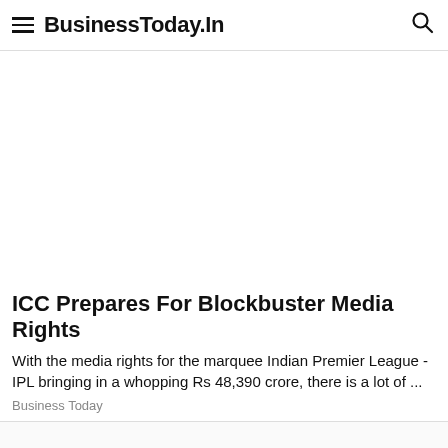BusinessToday.In
ICC Prepares For Blockbuster Media Rights
With the media rights for the marquee Indian Premier League - IPL bringing in a whopping Rs 48,390 crore, there is a lot of ...
Business Today